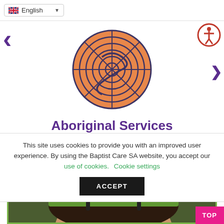English (language selector)
[Figure (logo): Baptist Care SA circular logo — orange concentric circle design with dark navy outlines]
Aboriginal Services
This site uses cookies to provide you with an improved user experience. By using the Baptist Care SA website, you accept our use of cookies. Cookie settings ACCEPT
[Figure (photo): Close-up photo of a young woman wearing a green helmet and headphones, looking upward, with a blurred outdoor background]